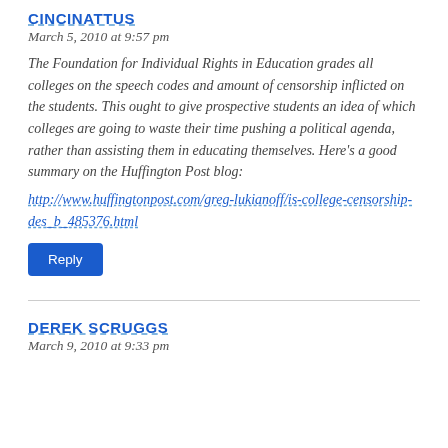CINCINATTUS
March 5, 2010 at 9:57 pm
The Foundation for Individual Rights in Education grades all colleges on the speech codes and amount of censorship inflicted on the students. This ought to give prospective students an idea of which colleges are going to waste their time pushing a political agenda, rather than assisting them in educating themselves. Here’s a good summary on the Huffington Post blog:
http://www.huffingtonpost.com/greg-lukianoff/is-college-censorship-des_b_485376.html
Reply
DEREK SCRUGGS
March 9, 2010 at 9:33 pm